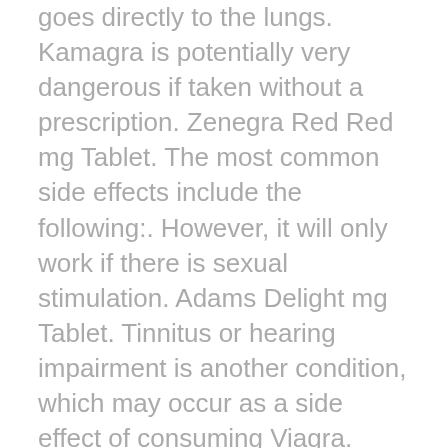goes directly to the lungs. Kamagra is potentially very dangerous if taken without a prescription. Zenegra Red Red mg Tablet. The most common side effects include the following:. However, it will only work if there is sexual stimulation. Adams Delight mg Tablet. Tinnitus or hearing impairment is another condition, which may occur as a side effect of consuming Viagra. Legal erectile dysfunction medicines are now much cheaper than they used to be, so there should be less incentive for men to head to illegal and dangerous sites. Price Range:
Kamagra mg Tablet relaxes the smooth muscles by inhibiting